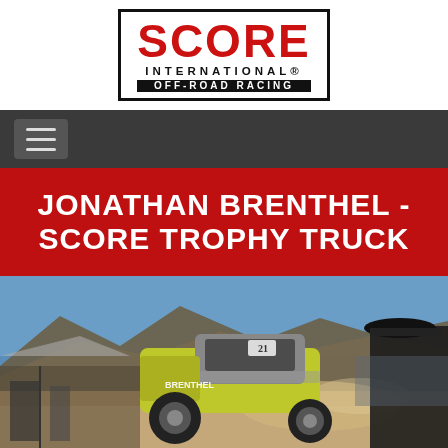[Figure (logo): SCORE International Off-Road Racing logo in a black border box with red SCORE text, black INTERNATIONAL text, and white OFF-ROAD RACING text on dark background]
[Figure (screenshot): Dark navigation bar with a hamburger menu button (three horizontal lines)]
JONATHAN BRENTHEL - SCORE TROPHY TRUCK
[Figure (photo): A yellow and gray Trophy Truck (Brenthel) airborne or at speed in a desert environment with mountains and spectators in the background. A person wearing a cap is visible in the foreground right.]
[Figure (photo): Partial view of a second photo below the main photo, dark toned image in a light framed box]